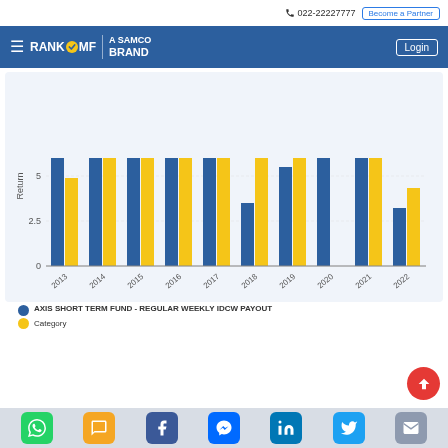022-22227777 | Become a Partner
[Figure (logo): RankMF - A Samco Brand logo with hamburger menu and Login button]
[Figure (grouped-bar-chart): Returns chart]
AXIS SHORT TERM FUND - REGULAR WEEKLY IDCW PAYOUT
Category
Social share buttons: WhatsApp, SMS, Facebook, Messenger, LinkedIn, Twitter, Email